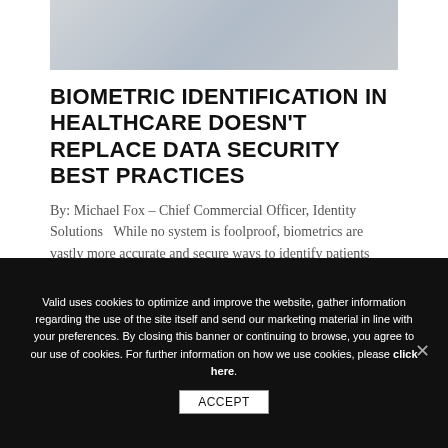[Figure (photo): Medical/healthcare image showing a person, partially visible at the top of the page]
BIOMETRIC IDENTIFICATION IN HEALTHCARE DOESN’T REPLACE DATA SECURITY BEST PRACTICES
By: Michael Fox – Chief Commercial Officer, Identity Solutions  While no system is foolproof, biometrics are vastly more accurate and secure ways to identify patients because they measure a physical trait (something you are) rather than a
Valid uses cookies to optimize and improve the website, gather information regarding the use of the site itself and send our marketing material in line with your preferences. By closing this banner or continuing to browse, you agree to our use of cookies. For further information on how we use cookies, please click here.
ACCEPT